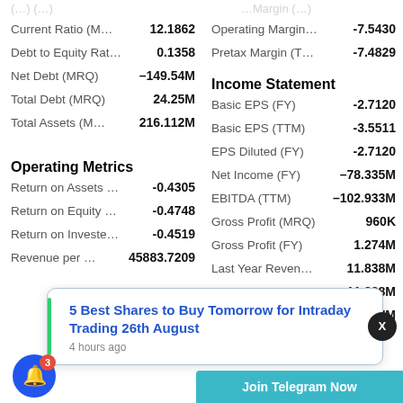| Metric | Value | Metric | Value |
| --- | --- | --- | --- |
| Current Ratio (M… | 12.1862 | Operating Margin… | -7.5430 |
| Debt to Equity Rat… | 0.1358 | Pretax Margin (T… | -7.4829 |
| Net Debt (MRQ) | –149.54M |  |  |
| Total Debt (MRQ) | 24.25M |  |  |
| Total Assets (M… | 216.112M |  |  |
Operating Metrics
| Metric | Value |
| --- | --- |
| Return on Assets … | -0.4305 |
| Return on Equity … | -0.4748 |
| Return on Investe… | -0.4519 |
| Revenue per … | 45883.7209 |
Income Statement
| Metric | Value |
| --- | --- |
| Basic EPS (FY) | -2.7120 |
| Basic EPS (TTM) | -3.5511 |
| EPS Diluted (FY) | -2.7120 |
| Net Income (FY) | –78.335M |
| EBITDA (TTM) | –102.933M |
| Gross Profit (MRQ) | 960K |
| Gross Profit (FY) | 1.274M |
| Last Year Reven… | 11.838M |
| Total Revenue (… | 11.838M |
| Free Cash Flo… | –88.847M |
5 Best Shares to Buy Tomorrow for Intraday Trading 26th August
4 hours ago